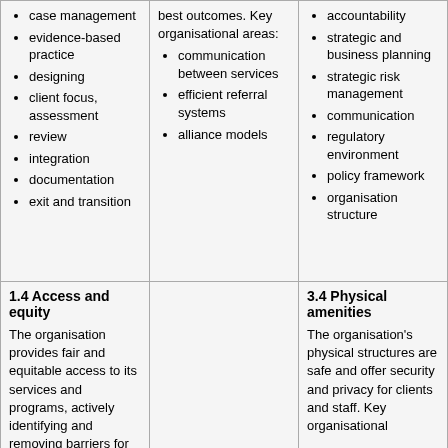case management
evidence-based practice
designing
client focus, assessment
review
integration
documentation
exit and transition
best outcomes. Key organisational areas:
communication between services
efficient referral systems
alliance models
accountability
strategic and business planning
strategic risk management
communication
regulatory environment
policy framework
organisation structure
1.4 Access and equity
The organisation provides fair and equitable access to its services and programs, actively identifying and removing barriers for
3.4 Physical amenities
The organisation's physical structures are safe and offer security and privacy for clients and staff. Key organisational